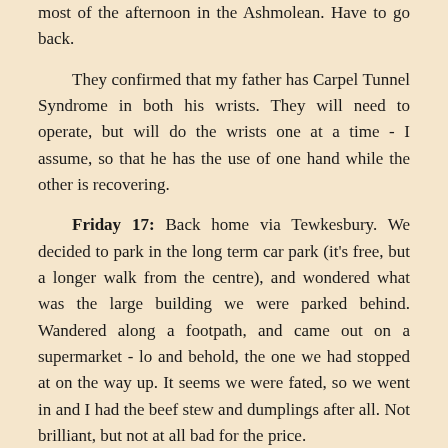most of the afternoon in the Ashmolean. Have to go back.
They confirmed that my father has Carpel Tunnel Syndrome in both his wrists. They will need to operate, but will do the wrists one at a time - I assume, so that he has the use of one hand while the other is recovering.
Friday 17: Back home via Tewkesbury. We decided to park in the long term car park (it's free, but a longer walk from the centre), and wondered what was the large building we were parked behind. Wandered along a footpath, and came out on a supermarket - lo and behold, the one we had stopped at on the way up. It seems we were fated, so we went in and I had the beef stew and dumplings after all. Not brilliant, but not at all bad for the price.